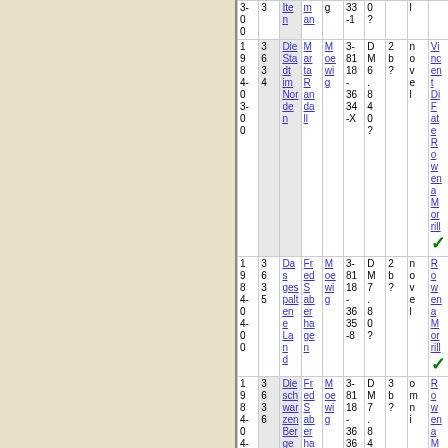| col1 | col2 | col3 | col4 | col5 | col6 | col7 | col8 | col9 | col10 |
| --- | --- | --- | --- | --- | --- | --- | --- | --- | --- |
| 3-0 0 | 3 | Iten | m an | g | 33 -1 | 0 ? | l |  |  |
| 1 9 8 4- 0 3- 0 0 | 3 6 3 4 | Die Sta dt im Nor den | M ar ta R an da ll | M oe wi g | 3-81 18 - 36 34 -X | D M 6. 8 4 0 ? | 2 b ? | n o v e l | Vince nt Di Fate Ro wena Morrill |
| 1 9 8 4- 0 4- 0 0 | 3 6 3 5 | Da s ges palt ene Lan d | Fr ed S ab er ha ge n | M oe wi g | 3-81 18 - 36 35 -8 | D M 7. 8 0 ? | 2 b ? | n o v e l | Ro wena Morrill |
| 1 9 8 4- 0 4- 0 0 | 3 6 3 6 | Die schw ar zen Ber ge | Fr ed S ab er ha ge n | M oe wi g | 3-81 18 - 36 36 -6 | D M 7. 8 4 0 ? | 3 b ? | o m n i | Ro wena Morrill |
| 1 9 8 |  | Ko | ed
i | M | 3-81 18 | D M |  |  | Ro |